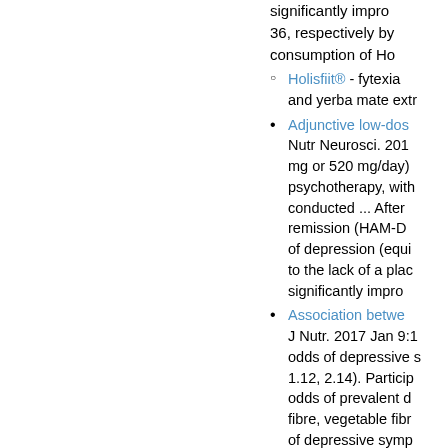significantly impro 36, respectively by consumption of Ho
Holisfiit® - fytexia and yerba mate extr
Adjunctive low-dos Nutr Neurosci. 201 mg or 520 mg/day) psychotherapy, with conducted ... After remission (HAM-D of depression (equi to the lack of a plac significantly impro
Association betwe J Nutr. 2017 Jan 9:1 odds of depressive s 1.12, 2.14). Particip odds of prevalent d fibre, vegetable fibr of depressive symp second v. first tertil symptoms, multiva
Efficacy of curcum randomised, double individuals with ma